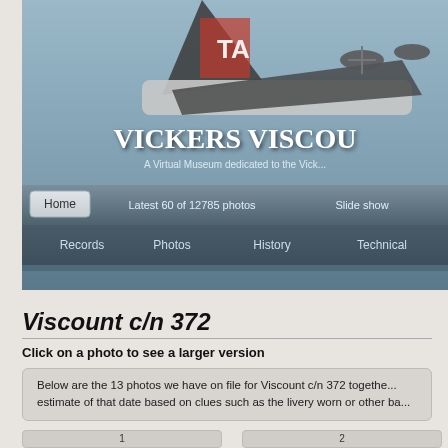[Figure (screenshot): Vickers Viscount virtual museum website screenshot showing header with airplane photo, navigation bars, and content about Viscount c/n 372]
VICKERS VISCOU...
A Virtual Museum dedicated to the Vick...
Home | Latest 60 of 12785 photos | Slide show
Records | Photos | History | Technical
Viscount c/n 372
Click on a photo to see a larger version
Below are the 13 photos we have on file for Viscount c/n 372 together... estimate of that date based on clues such as the livery worn or other ba...